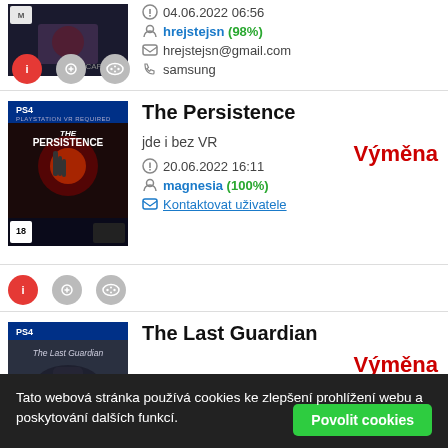[Figure (screenshot): Game cover image (partially visible) - dark action game with Capcom branding]
04.06.2022 06:56
hrejstejsn (98%)
hrejstejsn@gmail.com
samsung
[Figure (screenshot): The Persistence PS4 game cover - PlayStation VR required, dark sci-fi horror]
The Persistence
Výměna
jde i bez VR
20.06.2022 16:11
magnesia (100%)
Kontaktovat uživatele
[Figure (screenshot): The Last Guardian PS4 game cover]
The Last Guardian
Výměna
Tato webová stránka používá cookies ke zlepšení prohlížení webu a poskytování dalších funkcí.
Povolit cookies